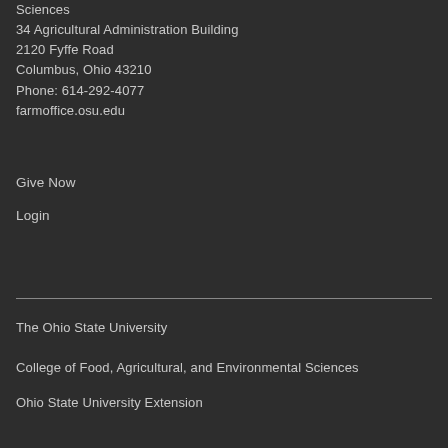Sciences
34 Agricultural Administration Building
2120 Fyffe Road
Columbus, Ohio 43210
Phone: 614-292-4077
farmoffice.osu.edu
Give Now
Login
The Ohio State University
College of Food, Agricultural, and Environmental Sciences
Ohio State University Extension